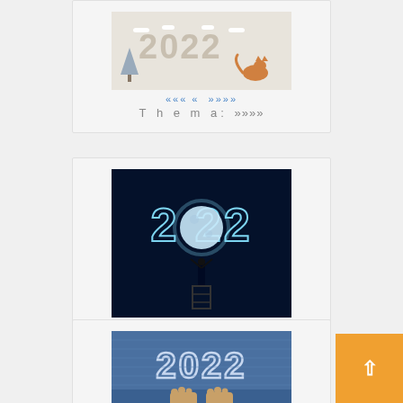[Figure (illustration): Top card with a 2022 illustration showing cartoon animals (cat and dog) in a winter scene with snow]
«««« »»»»
T h e m a: »»»»
[Figure (illustration): Middle card with a 2022 artistic photo — glowing blue '2022' numerals against dark background with a silhouette of a person holding up a moon/globe between the digits]
«««« »»»»
T h e m a: »»»»
[Figure (illustration): Bottom card with a mosaic/tile '2022' design with two feet visible at the bottom of the image]
[Figure (other): Orange back-to-top button with upward arrow in the bottom right corner]